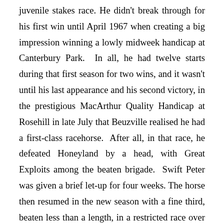juvenile stakes race. He didn't break through for his first win until April 1967 when creating a big impression winning a lowly midweek handicap at Canterbury Park. In all, he had twelve starts during that first season for two wins, and it wasn't until his last appearance and his second victory, in the prestigious MacArthur Quality Handicap at Rosehill in late July that Beuzville realised he had a first-class racehorse. After all, in that race, he defeated Honeyland by a head, with Great Exploits among the beaten brigade. Swift Peter was given a brief let-up for four weeks. The horse then resumed in the new season with a fine third, beaten less than a length, in a restricted race over a mile at Warwick Farm after coming from last in a field of thirteen in the hands of Ray Selkrig. It was that performance that had nourished Selkrig and Beuzeville's faith that, pedigree notwithstanding, Swift